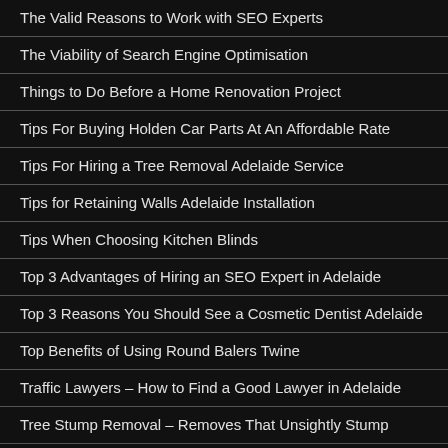The Valid Reasons to Work with SEO Experts
The Viability of Search Engine Optimisation
Things to Do Before a Home Renovation Project
Tips For Buying Holden Car Parts At An Affordable Rate
Tips For Hiring a Tree Removal Adelaide Service
Tips for Retaining Walls Adelaide Installation
Tips When Choosing Kitchen Blinds
Top 3 Advantages of Hiring an SEO Expert in Adelaide
Top 3 Reasons You Should See a Cosmetic Dentist Adelaide
Top Benefits of Using Round Balers Twine
Traffic Lawyers – How to Find a Good Lawyer in Adelaide
Tree Stump Removal – Removes That Unsightly Stump
Type of Joint Injuries To Undergo Knee Surgery